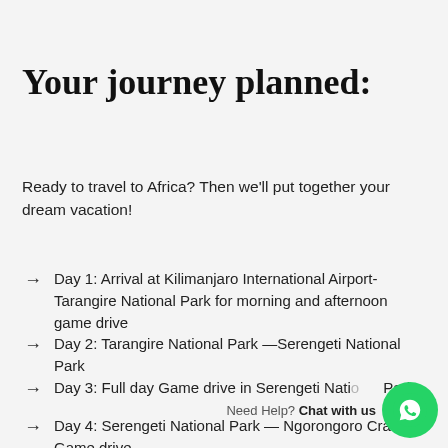Your journey planned:
Ready to travel to Africa? Then we'll put together your dream vacation!
Day 1: Arrival at Kilimanjaro International Airport- Tarangire National Park for morning and afternoon game drive
Day 2: Tarangire National Park —Serengeti National Park
Day 3: Full day Game drive in Serengeti National Park
Day 4: Serengeti National Park — Ngorongoro Crater Game drive.
[Figure (logo): WhatsApp chat button with 'Need Help? Chat with us' label and green WhatsApp icon]